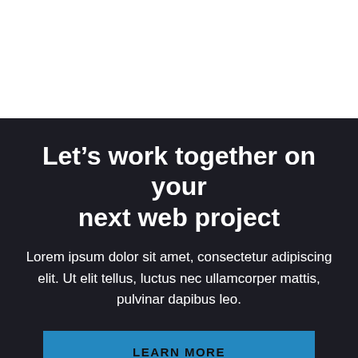Let’s work together on your next web project
Lorem ipsum dolor sit amet, consectetur adipiscing elit. Ut elit tellus, luctus nec ullamcorper mattis, pulvinar dapibus leo.
LEARN MORE